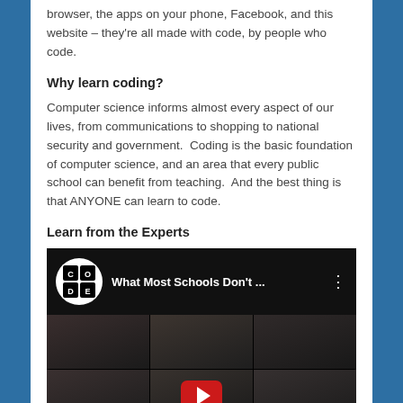browser, the apps on your phone, Facebook, and this website – they're all made with code, by people who code.
Why learn coding?
Computer science informs almost every aspect of our lives, from communications to shopping to national security and government.  Coding is the basic foundation of computer science, and an area that every public school can benefit from teaching.  And the best thing is that ANYONE can learn to code.
Learn from the Experts
[Figure (screenshot): YouTube video thumbnail showing 'What Most Schools Don't...' with Code.org logo and a grid of faces, with a red play button overlay]